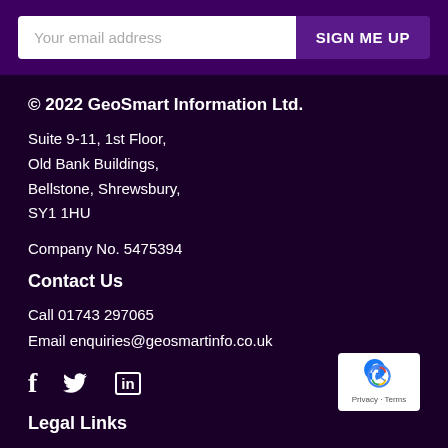Your email address | SIGN ME UP
© 2022 GeoSmart Information Ltd.
Suite 9-11, 1st Floor,
Old Bank Buildings,
Bellstone, Shrewsbury,
SY1 1HU
Company No. 5475394
Contact Us
Call 01743 297065
Email enquiries@geosmartinfo.co.uk
[Figure (logo): Social media icons: Facebook (f), Twitter (bird), LinkedIn (in)]
[Figure (logo): reCAPTCHA badge with Privacy and Terms text]
Legal Links